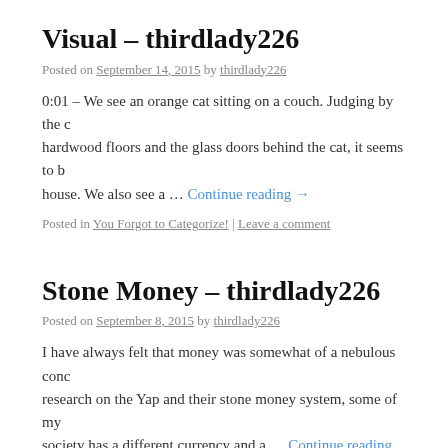Visual – thirdlady226
Posted on September 14, 2015 by thirdlady226
0:01 – We see an orange cat sitting on a couch. Judging by the hardwood floors and the glass doors behind the cat, it seems to be a house. We also see a … Continue reading →
Posted in You Forgot to Categorize! | Leave a comment
Stone Money – thirdlady226
Posted on September 8, 2015 by thirdlady226
I have always felt that money was somewhat of a nebulous concept. After research on the Yap and their stone money system, some of my … society has a different currency and a … Continue reading →
Posted in Stone Money Links | 5 Comments